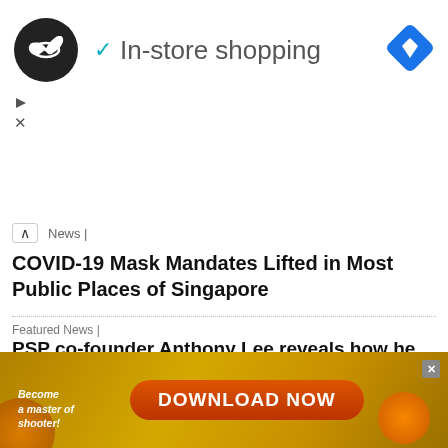[Figure (screenshot): Advertisement banner: black circular logo with infinity-like symbol, checkmark icon in teal, text 'In-store shopping', blue diamond navigation icon. Play and X controls at bottom left.]
News |
COVID-19 Mask Mandates Lifted in Most Public Places of Singapore
Featured News |
PSP co-founder Anthony Lee reveals how he suffered as a stage-four cancer patient who attended ten-hour chemotherapy sessions
Home News |
National Geographic tags Gardens by the Bay in Singapore, Malaysia, netizens retaliate with islabeled locations
[Figure (screenshot): Advertisement banner: game ad with orange/gold background, text 'Become a master of shooter!', large orange button 'DOWNLOAD NOW', decorative game elements and close button.]